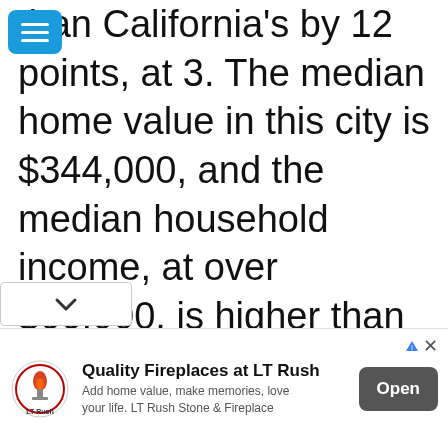than California's by 12 points, at 3. The median home value in this city is $344,000, and the median household income, at over $66,000, is higher than that of California as a state overall. The median age of residents matches California's median of 36.2 years old. Redlands is an tractive city in terms of more
[Figure (other): Advertisement banner for LT Rush fireplaces. Shows LT Rush logo, text 'Quality Fireplaces at LT Rush', subtext 'Add home value, make memories, love your life. LT Rush Stone & Fireplace', and an Open button.]